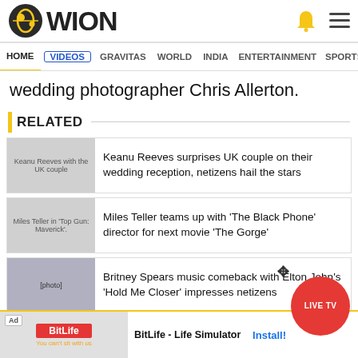[Figure (logo): WION logo with circular globe icon in black and yellow]
HOME | VIDEOS | GRAVITAS | WORLD | INDIA | ENTERTAINMENT | SPORTS
wedding photographer Chris Allerton.
RELATED
[Figure (photo): Keanu Reeves with the UK couple]
Keanu Reeves surprises UK couple on their wedding reception, netizens hail the stars
[Figure (photo): Miles Teller in 'Top Gun: Maverick'.]
Miles Teller teams up with 'The Black Phone' director for next movie 'The Gorge'
[Figure (photo): Britney Spears and Elton John]
Britney Spears music comeback with Elton John's 'Hold Me Closer' impresses netizens
[Figure (screenshot): Ad banner for BitLife - Life Simulator app with Install button]